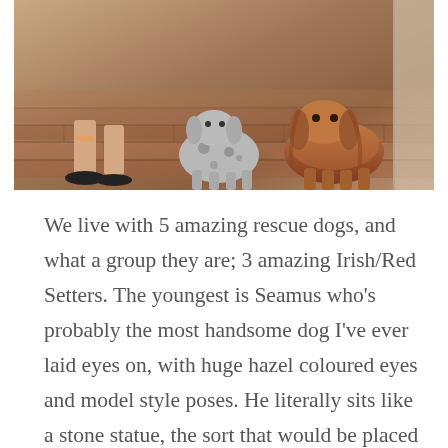[Figure (photo): Photo of two dogs (one spotted/grey, one golden/red Irish Setter) sitting on a brick floor next to a person wearing flip flops]
We live with 5 amazing rescue dogs, and what a group they are; 3 amazing Irish/Red Setters. The youngest is Seamus who's probably the most handsome dog I've ever laid eyes on, with huge hazel coloured eyes and model style poses. He literally sits like a stone statue, the sort that would be placed at the entrance to a grand estate, but of course he's not made of stone and has the most incredible long red hair just like an Orangutan. Gunner keeps himself to himself, but adores cuddles and will frantically tap you with his paw and beg like claws for more strokes. Then there's